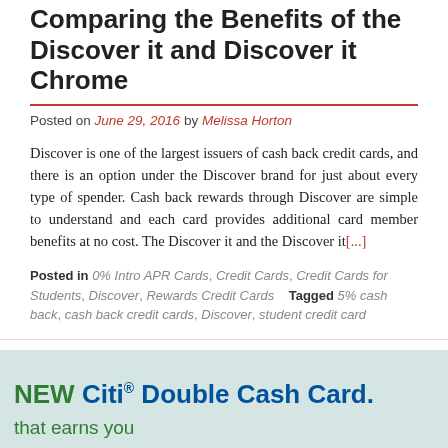Comparing the Benefits of the Discover it and Discover it Chrome
Posted on June 29, 2016 by Melissa Horton
Discover is one of the largest issuers of cash back credit cards, and there is an option under the Discover brand for just about every type of spender. Cash back rewards through Discover are simple to understand and each card provides additional card member benefits at no cost. The Discover it and the Discover it[...]
Posted in 0% Intro APR Cards, Credit Cards, Credit Cards for Students, Discover, Rewards Credit Cards    Tagged 5% cash back, cash back credit cards, Discover, student credit card
[Figure (screenshot): Advertisement banner with light teal background showing 'NEW Citi® Double Cash Card.' in large bold text and 'that earns you' below it, with Citi logo partially visible at right.]